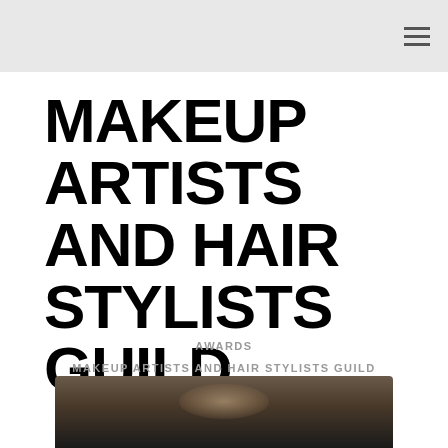MAKEUP ARTISTS AND HAIR STYLISTS GUILD
AWARDS
MAKEUP ARTISTS AND HAIR STYLISTS GUILD
NEWS    VICE
[Figure (photo): Portrait photo of a person, dark background, partially visible at bottom of page]